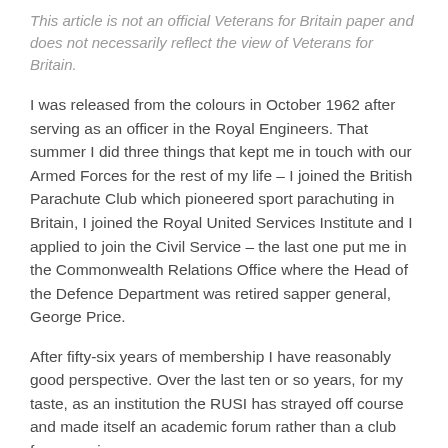This article is not an official Veterans for Britain paper and does not necessarily reflect the view of Veterans for Britain.
I was released from the colours in October 1962 after serving as an officer in the Royal Engineers. That summer I did three things that kept me in touch with our Armed Forces for the rest of my life – I joined the British Parachute Club which pioneered sport parachuting in Britain, I joined the Royal United Services Institute and I applied to join the Civil Service – the last one put me in the Commonwealth Relations Office where the Head of the Defence Department was retired sapper general, George Price.
After fifty-six years of membership I have reasonably good perspective. Over the last ten or so years, for my taste, as an institution the RUSI has strayed off course and made itself an academic forum rather than a club for spawning